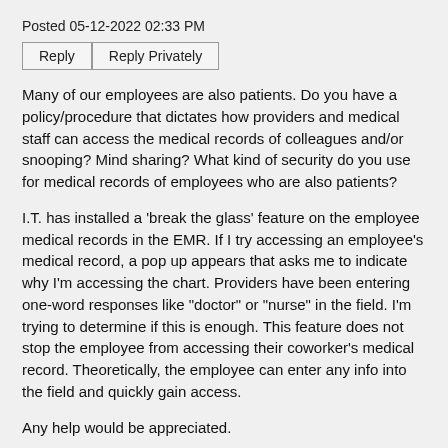Posted 05-12-2022 02:33 PM
Reply   Reply Privately
Many of our employees are also patients. Do you have a policy/procedure that dictates how providers and medical staff can access the medical records of colleagues and/or snooping? Mind sharing? What kind of security do you use for medical records of employees who are also patients?
I.T. has installed a 'break the glass' feature on the employee medical records in the EMR. If I try accessing an employee's medical record, a pop up appears that asks me to indicate why I'm accessing the chart. Providers have been entering one-word responses like "doctor" or "nurse" in the field. I'm trying to determine if this is enough. This feature does not stop the employee from accessing their coworker's medical record. Theoretically, the employee can enter any info into the field and quickly gain access.
Any help would be appreciated.
Thanks!